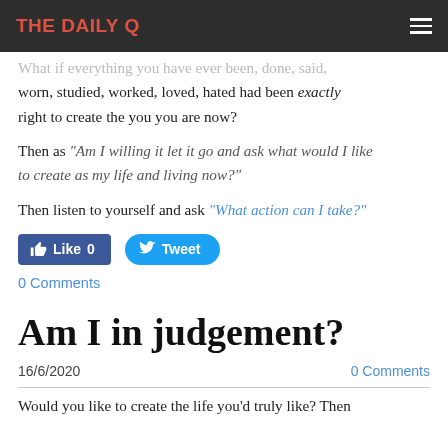THE DAILY Q
What if everything you have ever been, done, said, worn, studied, worked, loved, hated had been exactly right to create the you you are now?
Then as "Am I willing it let it go and ask what would I like to create as my life and living now?"
Then listen to yourself and ask "What action can I take?"
Like 0   Tweet
0 Comments
Am I in judgement?
16/6/2020
0 Comments
Would you like to create the life you'd truly like? Then